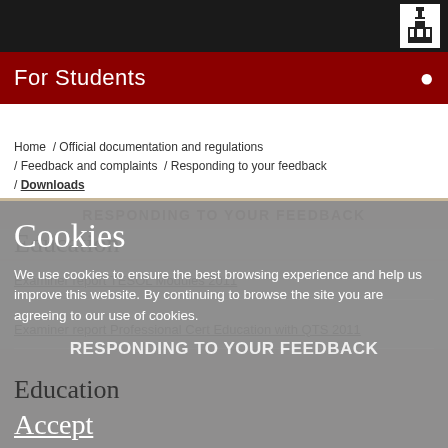For Students
Home / Official documentation and regulations / Feedback and complaints / Responding to your feedback / Downloads
RESPONDING TO YOUR FEEDBACK
Education
Cookies
We use cookies to ensure the best browsing experience and help us improve this website. By continuing to browse the site you are agreeing to our use of cookies.
Accept
Settings
Examiner report TESOL Modules 2011
Examiner report Professional Cert Education with QTS 2011